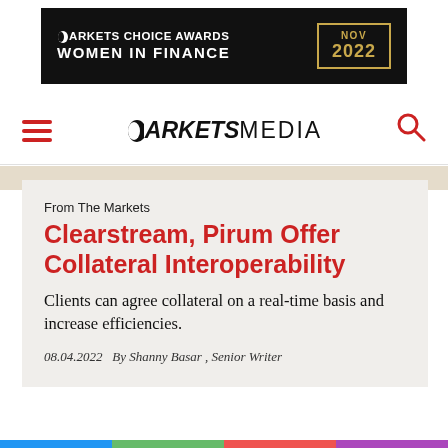[Figure (logo): Markets Choice Awards Women in Finance NOV 2022 banner advertisement on black background with gold border date box]
[Figure (logo): Markets Media navigation bar with hamburger menu (red lines), Markets Media logo in center, and red search icon on right]
From The Markets
Clearstream, Pirum Offer Collateral Interoperability
Clients can agree collateral on a real-time basis and increase efficiencies.
08.04.2022   By Shanny Basar , Senior Writer